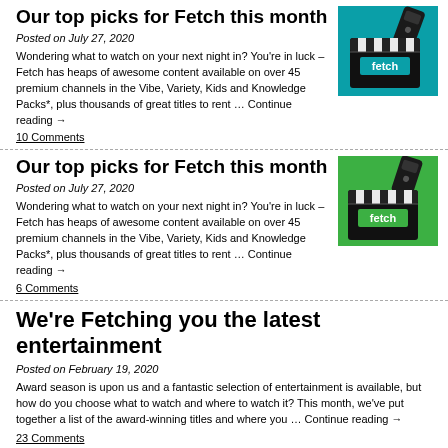Our top picks for Fetch this month
Posted on July 27, 2020
Wondering what to watch on your next night in? You're in luck – Fetch has heaps of awesome content available on over 45 premium channels in the Vibe, Variety, Kids and Knowledge Packs*, plus thousands of great titles to rent … Continue reading →
10 Comments
[Figure (photo): Photo of a movie clapperboard with 'fetch' branding on a teal/turquoise background with a remote control]
Our top picks for Fetch this month
Posted on July 27, 2020
Wondering what to watch on your next night in? You're in luck – Fetch has heaps of awesome content available on over 45 premium channels in the Vibe, Variety, Kids and Knowledge Packs*, plus thousands of great titles to rent … Continue reading →
6 Comments
[Figure (photo): Photo of a movie clapperboard with 'fetch' branding on a green background with a remote control]
We're Fetching you the latest entertainment
Posted on February 19, 2020
Award season is upon us and a fantastic selection of entertainment is available, but how do you choose what to watch and where to watch it? This month, we've put together a list of the award-winning titles and where you … Continue reading →
23 Comments